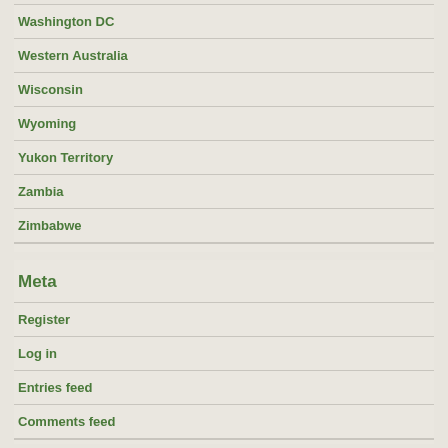Washington DC
Western Australia
Wisconsin
Wyoming
Yukon Territory
Zambia
Zimbabwe
Meta
Register
Log in
Entries feed
Comments feed